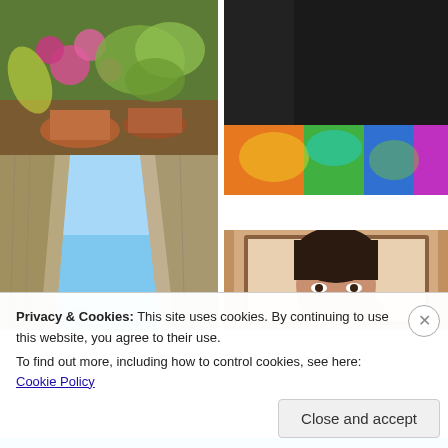[Figure (photo): Photo of flowers and plants in pots outdoors]
[Figure (photo): Mountain lake landscape with person wearing colorful tie-dye visor]
[Figure (photo): Tall rock canyon walls against blue sky]
[Figure (photo): Person looking into mirror selfie]
Privacy & Cookies: This site uses cookies. By continuing to use this website, you agree to their use.
To find out more, including how to control cookies, see here: Cookie Policy
Close and accept